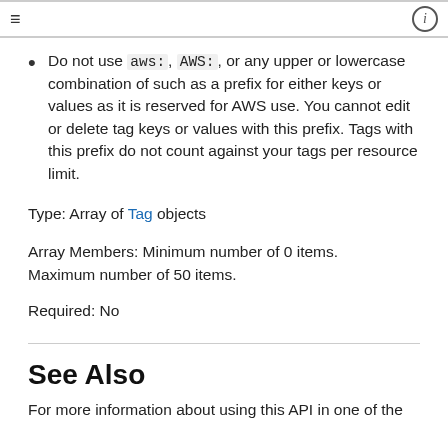≡  ⓘ
Do not use aws:, AWS:, or any upper or lowercase combination of such as a prefix for either keys or values as it is reserved for AWS use. You cannot edit or delete tag keys or values with this prefix. Tags with this prefix do not count against your tags per resource limit.
Type: Array of Tag objects
Array Members: Minimum number of 0 items. Maximum number of 50 items.
Required: No
See Also
For more information about using this API in one of the